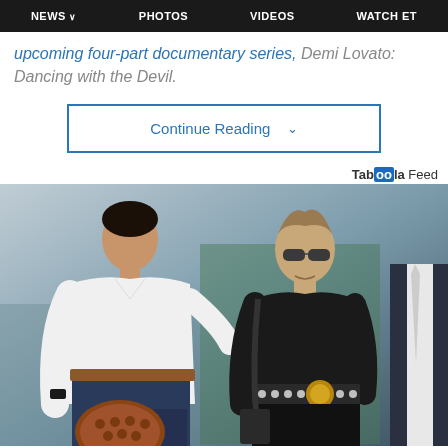NEWS  PHOTOS  VIDEOS  WATCH ET
upcoming four-part documentary series, Demi Lovato: Dancing with the Devil.
Continue Reading
Taboola Feed
[Figure (photo): Two people walking together outdoors. Person on left wears white button-up shirt, brown belt, navy pants, and carries a brown beaded bag. Person on right is an older individual wearing all black with a decorative belt and carrying a black bag.]